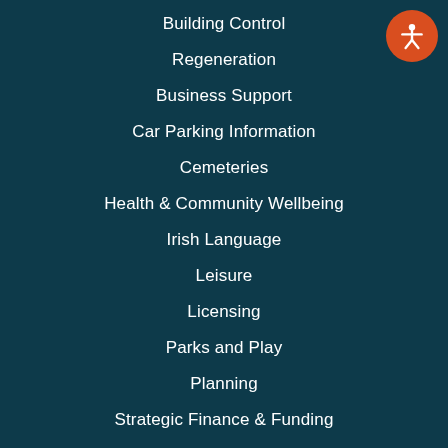Building Control
Regeneration
Business Support
Car Parking Information
Cemeteries
Health & Community Wellbeing
Irish Language
Leisure
Licensing
Parks and Play
Planning
Strategic Finance & Funding
Contact Us
[Figure (illustration): Accessibility icon: orange circle with white human figure with arms outstretched]